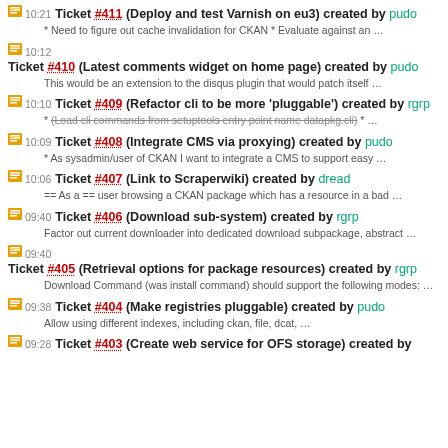10:21 Ticket #411 (Deploy and test Varnish on eu3) created by pudo
* Need to figure out cache invalidation for CKAN * Evaluate against an …
10:12 Ticket #410 (Latest comments widget on home page) created by pudo
This would be an extension to the disqus plugin that would patch itself …
10:10 Ticket #409 (Refactor cli to be more 'pluggable') created by rgrp
* (Load cli commands from setuptools entry point name datapkg.cli) * …
10:09 Ticket #408 (Integrate CMS via proxying) created by pudo
* As sysadmin/user of CKAN I want to integrate a CMS to support easy …
10:06 Ticket #407 (Link to Scraperwiki) created by dread
== As a == user browsing a CKAN package which has a resource in a bad …
09:40 Ticket #406 (Download sub-system) created by rgrp
Factor out current downloader into dedicated download subpackage, abstract …
09:40 Ticket #405 (Retrieval options for package resources) created by rgrp
Download Command (was install command) should support the following modes: …
09:38 Ticket #404 (Make registries pluggable) created by pudo
Allow using different indexes, including ckan, file, dcat, …
09:28 Ticket #403 (Create web service for OFS storage) created by